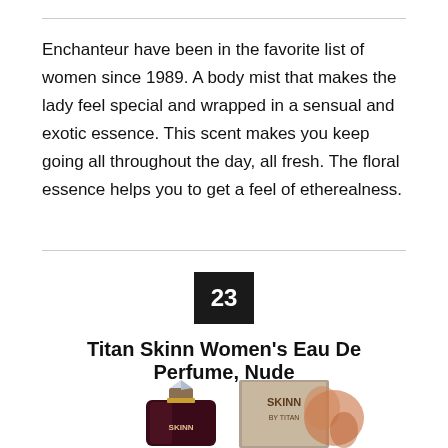Enchanteur have been in the favorite list of women since 1989. A body mist that makes the lady feel special and wrapped in a sensual and exotic essence. This scent makes you keep going all throughout the day, all fresh. The floral essence helps you to get a feel of etherealness.
23
Titan Skinn Women's Eau De Perfume, Nude
[Figure (photo): Titan Skinn perfume bottle (dark red/black bottle with crystal cap and gold collar, SKINN branding) next to its packaging box, with a floral element visible]